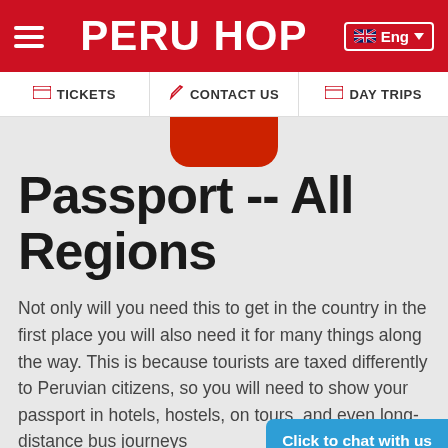PERU HOP
TICKETS  CONTACT US  DAY TRIPS
Passport -- All Regions
Not only will you need this to get in the country in the first place you will also need it for many things along the way. This is because tourists are taxed differently to Peruvian citizens, so you will need to show your passport in hotels, hostels, on tours, and even long-distance bus journeys